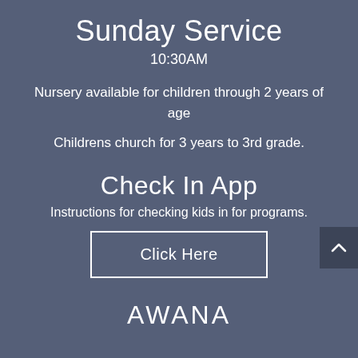Sunday Service
10:30AM
Nursery available for children through 2 years of age
Childrens church for 3 years to 3rd grade.
Check In App
Instructions for checking kids in for programs.
Click Here
AWANA